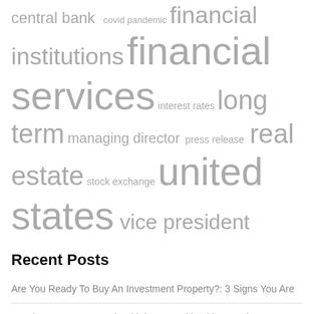[Figure (other): Tag cloud with finance-related terms in varying sizes and gray colors: central bank, covid pandemic, financial institutions, financial services, interest rates, long term, managing director, press release, real estate, stock exchange, united states, vice president]
Recent Posts
Are You Ready To Buy An Investment Property?: 3 Signs You Are
Meeting consumer needs with integrated banking services
Banks should tighten valuation controls on their corporate bond investments: experts | Company
Fed Governor: Banks looking to get into crypto